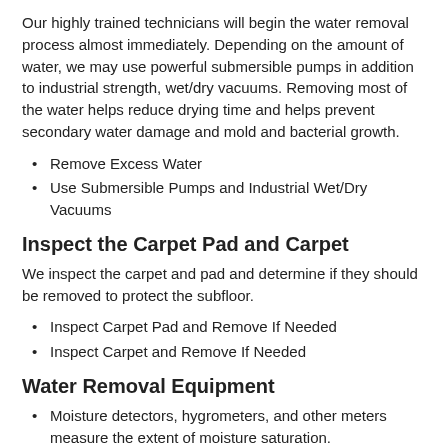Our highly trained technicians will begin the water removal process almost immediately. Depending on the amount of water, we may use powerful submersible pumps in addition to industrial strength, wet/dry vacuums. Removing most of the water helps reduce drying time and helps prevent secondary water damage and mold and bacterial growth.
Remove Excess Water
Use Submersible Pumps and Industrial Wet/Dry Vacuums
Inspect the Carpet Pad and Carpet
We inspect the carpet and pad and determine if they should be removed to protect the subfloor.
Inspect Carpet Pad and Remove If Needed
Inspect Carpet and Remove If Needed
Water Removal Equipment
Moisture detectors, hygrometers, and other meters measure the extent of moisture saturation.
Infrared cameras may be used to find “hidden” water